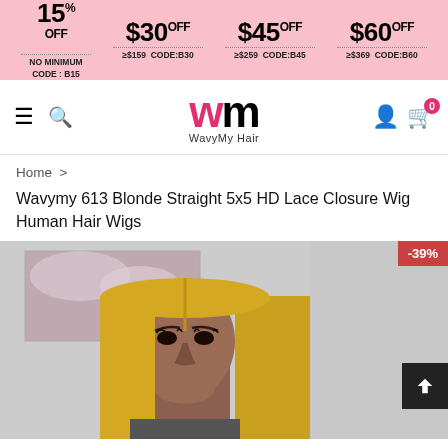[Figure (infographic): Pink promotional banner showing discount codes: 15% OFF NO MINIMUM CODE:B15, $30 OFF ≥$159 CODE:B30, $45 OFF ≥$259 CODE:B45, $60 OFF ≥$369 CODE:B60]
[Figure (logo): WavyMy Hair logo with stylized W in pink and M in black, navigation bar with hamburger menu, search icon, user icon, and cart with 0 badge]
Home >
Wavymy 613 Blonde Straight 5x5 HD Lace Closure Wig Human Hair Wigs
[Figure (photo): Photo of a person wearing a 613 blonde straight wig, with a -39% discount badge in the top right corner]